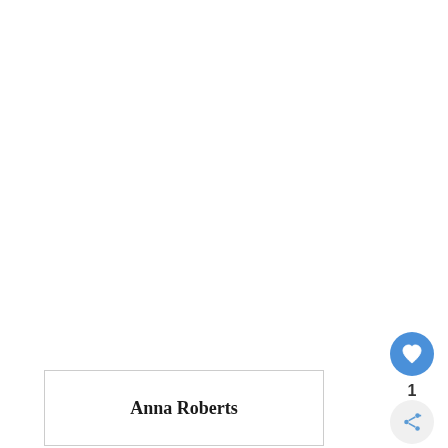Anna Roberts
[Figure (illustration): Heart (like/favorite) button — circular blue button with white heart icon]
1
[Figure (illustration): Share button — circular light grey button with share/forward icon]